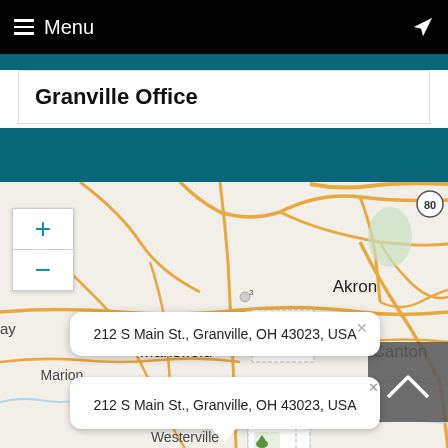≡ Menu
Granville Office
[Figure (map): Street map of Ohio showing cities Akron, Canton, Mansfield, Marion, Westerville and surrounding road network. Map includes zoom controls (+/-), location markers for Granville Office, and an address popup reading '212 S Main St., Granville, OH 43023, USA'.]
212 S Main St., Granville, OH 43023, USA